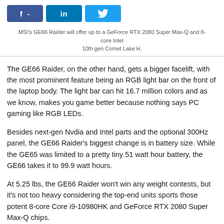[Figure (other): Social media share buttons: Facebook (f -), LinkedIn (in), Twitter (bird icon)]
MSI's GE66 Raider will offer up to a GeForce RTX 2080 Super Max-Q and 8-core Intel 10th gen Comet Lake H.
The GE66 Raider, on the other hand, gets a bigger facelift, with the most prominent feature being an RGB light bar on the front of the laptop body. The light bar can hit 16.7 million colors and as we know, makes you game better because nothing says PC gaming like RGB LEDs.
Besides next-gen Nvdia and Intel parts and the optional 300Hz panel, the GE66 Raider's biggest change is in battery size. While the GE65 was limited to a pretty tiny 51 watt hour battery, the GE66 takes it to 99.9 watt hours.
At 5.25 lbs, the GE66 Raider won't win any weight contests, but it's not too heavy considering the top-end units sports those potent 8-core Core i9-10980HK and GeForce RTX 2080 Super Max-Q chips.